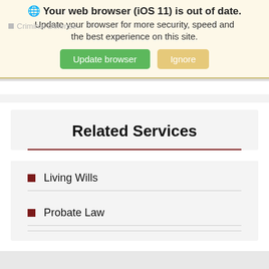[Figure (screenshot): Browser update notification banner with bold text 'Your web browser (iOS 11) is out of date.' followed by 'Update your browser for more security, speed and the best experience on this site.' with green 'Update browser' and tan 'Ignore' buttons. Faded 'Criminal Defense' text visible behind.]
Related Services
Living Wills
Probate Law